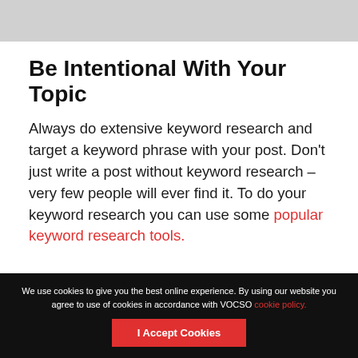[Figure (other): Gray banner at top of page]
Be Intentional With Your Topic
Always do extensive keyword research and target a keyword phrase with your post. Don't just write a post without keyword research – very few people will ever find it. To do your keyword research you can use some popular keyword research tools.
We use cookies to give you the best online experience. By using our website you agree to use of cookies in accordance with VOCSO cookie policy.  I Accept Cookies